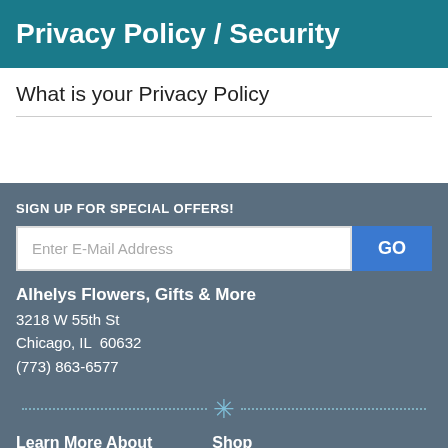Privacy Policy / Security
What is your Privacy Policy
SIGN UP FOR SPECIAL OFFERS!
Enter E-Mail Address
Alhelys Flowers, Gifts & More
3218 W 55th St
Chicago, IL  60632
(773) 863-6577
Learn More About   Shop